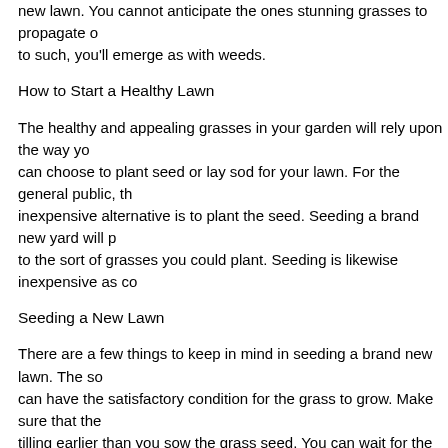new lawn. You cannot anticipate the ones stunning grasses to propagate of to such, you'll emerge as with weeds.
How to Start a Healthy Lawn
The healthy and appealing grasses in your garden will rely upon the way yo can choose to plant seed or lay sod for your lawn. For the general public, th inexpensive alternative is to plant the seed. Seeding a brand new yard will p to the sort of grasses you could plant. Seeding is likewise inexpensive as co
Seeding a New Lawn
There are a few things to keep in mind in seeding a brand new lawn. The so can have the satisfactory condition for the grass to grow. Make sure that the tilling earlier than you sow the grass seed. You can wait for the soil to firm u because it dries up eventually. You can also choose to rake and walk over th final grade. Some people use a lawn roller to settle the ground. In heavy cla compact the soil an excessive amount of.
You need to additionally make certain that there's sufficient drainage earlier lawn. Make positive there aren't any weeds within the soil that can in the en wanted nutrients. It is also a great idea to even out the floor. You can use a